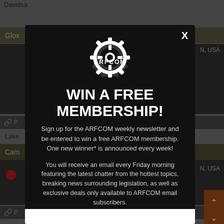Davidsa
Glox
N, USA
P
Lake
Cam
N, USA
P
Stark
JCR
[Figure (screenshot): ARFCOM modal popup with gear logo, headline WIN A FREE MEMBERSHIP!, subscription call-to-action text, and email input bar at bottom. Black background with X close button.]
WIN A FREE MEMBERSHIP!
Sign up for the ARFCOM weekly newsletter and be entered to win a free ARFCOM membership. One new winner* is announced every week!
You will receive an email every Friday morning featuring the latest chatter from the hottest topics, breaking news surrounding legislation, as well as exclusive deals only available to ARFCOM email subscribers.